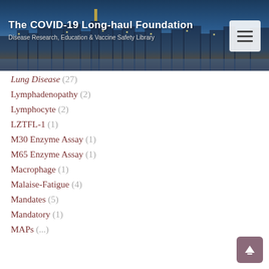The COVID-19 Long-haul Foundation
Disease Research, Education & Vaccine Safety Library
Lung Disease (27)
Lymphadenopathy (2)
Lymphocyte (2)
LZTFL-1 (1)
M30 Enzyme Assay (1)
M65 Enzyme Assay (1)
Macrophage (1)
Malaise-Fatigue (4)
Mandates (5)
Mandatory (1)
MARs (...)